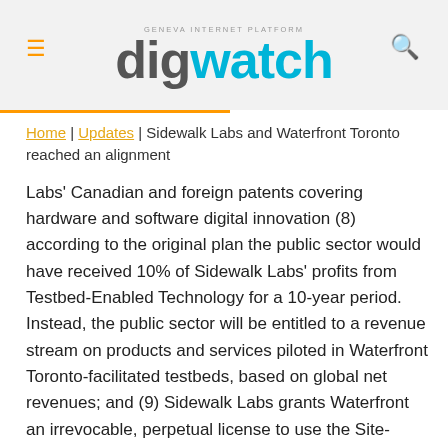digwatch — Geneva Internet Platform
Home | Updates | Sidewalk Labs and Waterfront Toronto reached an alignment
Labs' Canadian and foreign patents covering hardware and software digital innovation (8) according to the original plan the public sector would have received 10% of Sidewalk Labs' profits from Testbed-Enabled Technology for a 10-year period. Instead, the public sector will be entitled to a revenue stream on products and services piloted in Waterfront Toronto-facilitated testbeds, based on global net revenues; and (9) Sidewalk Labs grants Waterfront an irrevocable, perpetual license to use the Site-Specific IP created through the development process. In the months to follow, the Waterfront Toronto will meet with the public to discuss and adopt, if they see fit, the conduct of a